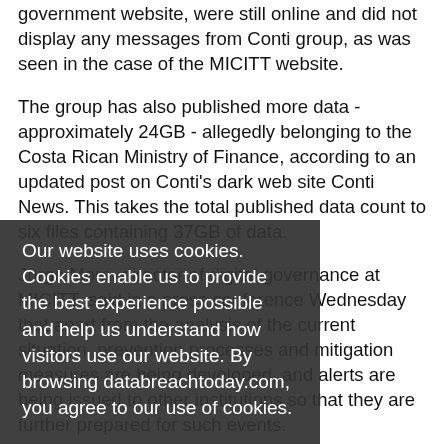government website, were still online and did not display any messages from Conti group, as was seen in the case of the MICITT website.
The group has also published more data - approximately 24GB - allegedly belonging to the Costa Rican Ministry of Finance, according to an updated post on Conti's dark web site Conti News. This takes the total published data count to six files containing 37GB of data.
Jorge Mora, director of digital governance at MICITT, said in a press conference Wednesday that apart from the analysis of the current situation, prevention processes and mitigation measures are being developed, and alerts are being issued to other institutions so that they are further prepared for such events.
"We are in the process of identifying risks in other institutions so that the teams can attend to them in a
Our website uses cookies. Cookies enable us to provide the best experience possible and help us understand how visitors use our website. By browsing databreachtoday.com, you agree to our use of cookies.